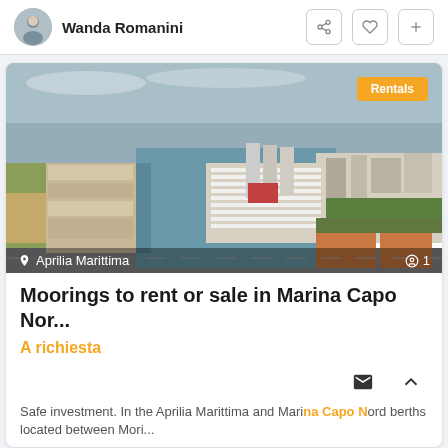Wanda Romanini
[Figure (photo): Aerial photograph of Aprilia Marittima marina with boats, canals, buildings, fields, and the sea in the background. Location label 'Aprilia Marittima' and photo count '1' shown at bottom of image. 'Rentals' badge in top right corner.]
Moorings to rent or sale in Marina Capo Nor...
A richiesta
Safe investment. In the Aprilia Marittima and Mari Nord berths located between Mori...